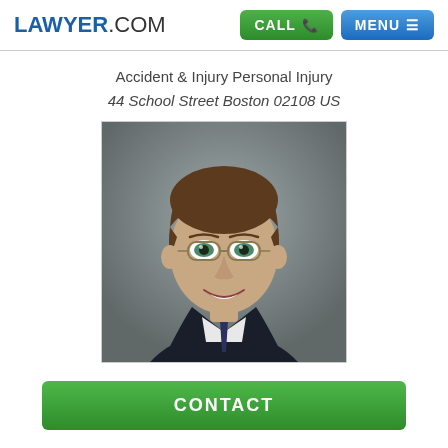LAWYER.COM
Accident & Injury Personal Injury
44 School Street Boston 02108 US
[Figure (photo): Professional headshot of a male lawyer wearing glasses, dark suit, and white shirt, smiling against a gray background]
CONTACT
Introduction
View Photo